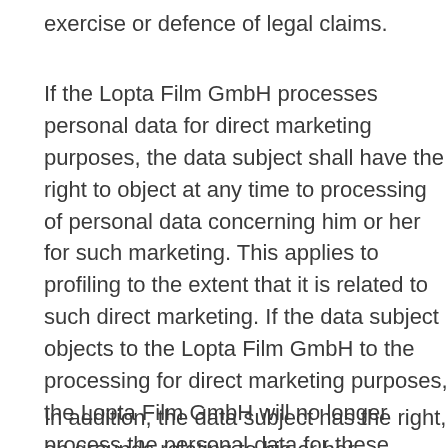exercise or defence of legal claims.
If the Lopta Film GmbH processes personal data for direct marketing purposes, the data subject shall have the right to object at any time to processing of personal data concerning him or her for such marketing. This applies to profiling to the extent that it is related to such direct marketing. If the data subject objects to the Lopta Film GmbH to the processing for direct marketing purposes, the Lopta Film GmbH will no longer process the personal data for these purposes.
In addition, the data subject has the right, on grounds relating to his or her particular